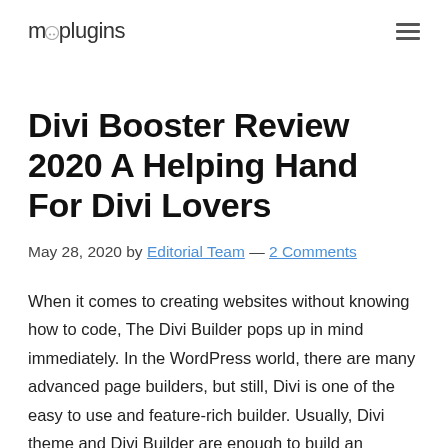muplugins
Divi Booster Review 2020 A Helping Hand For Divi Lovers
May 28, 2020 by Editorial Team — 2 Comments
When it comes to creating websites without knowing how to code, The Divi Builder pops up in mind immediately. In the WordPress world, there are many advanced page builders, but still, Divi is one of the easy to use and feature-rich builder. Usually, Divi theme and Divi Builder are enough to build an amazing website but at some stages, you need to enhance the features, in